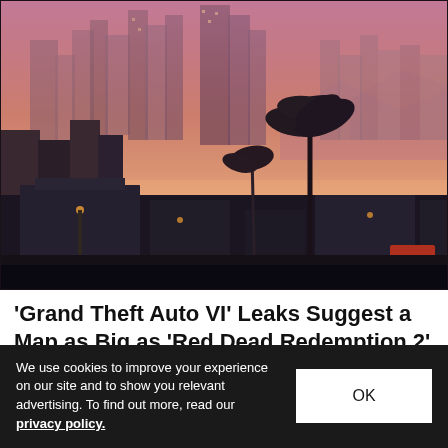[Figure (screenshot): GTA VI cityscape screenshot showing a city skyline at dusk/sunset with skyscrapers, palm trees, and urban streets in a hazy purple-orange atmosphere.]
'Grand Theft Auto VI' Leaks Suggest a Map as Big as 'Red Dead Redemption 2'
It'll also feature a second, stand-alone map.
Gaming   Aug 5, 2022   🔥 139.5K   💬 4
We use cookies to improve your experience on our site and to show you relevant advertising. To find out more, read our privacy policy.